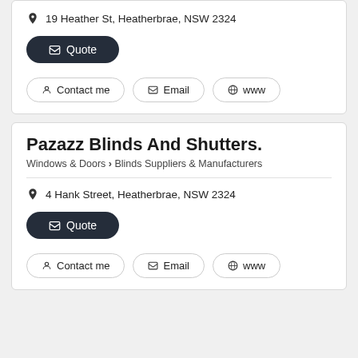19 Heather St, Heatherbrae, NSW 2324
Quote
Contact me
Email
www
Pazazz Blinds And Shutters.
Windows & Doors > Blinds Suppliers & Manufacturers
4 Hank Street, Heatherbrae, NSW 2324
Quote
Contact me
Email
www